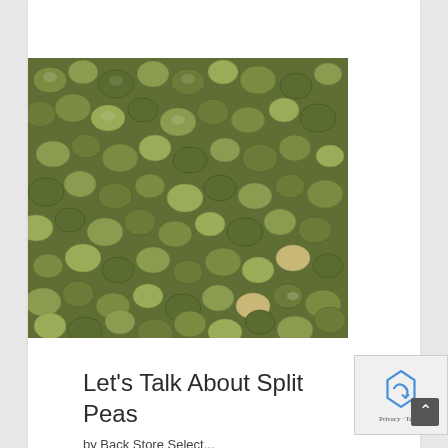[Figure (photo): Close-up photograph of green split peas, showing many dried, halved peas in various shades of green and olive, some yellowish-tan, filling the entire frame densely.]
Let's Talk About Split Peas